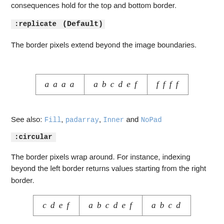the left and right border, but analogous consequences hold for the top and bottom border.
:replicate (Default)
The border pixels extend beyond the image boundaries.
[Figure (table-as-image): Table showing: aaaa | abcdef | ffff]
See also: Fill, padarray, Inner and NoPad
:circular
The border pixels wrap around. For instance, indexing beyond the left border returns values starting from the right border.
[Figure (table-as-image): Table showing: cdef | abcdef | abcd]